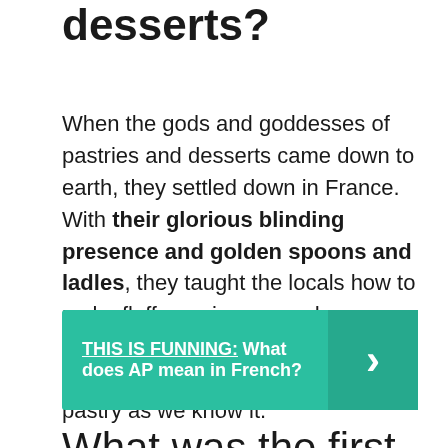desserts?
When the gods and goddesses of pastries and desserts came down to earth, they settled down in France. With their glorious blinding presence and golden spoons and ladles, they taught the locals how to make fluffy meringues and mousses, luscious cakes, and divine crème brûlées. The result is French pastry as we know it.
THIS IS FUNNING: What does AP mean in French?
What was the first pastry ever made?